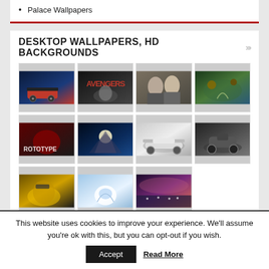Palace Wallpapers
DESKTOP WALLPAPERS, HD BACKGROUNDS
[Figure (screenshot): A 4x3 grid of wallpaper thumbnail images showing cars, Avengers, men, fantasy creatures, Prototype game, castle at night, Audi sports car, motorcycle, Bumblebee transformer, white creature, and sunset seascape.]
This website uses cookies to improve your experience. We'll assume you're ok with this, but you can opt-out if you wish.
Accept   Read More